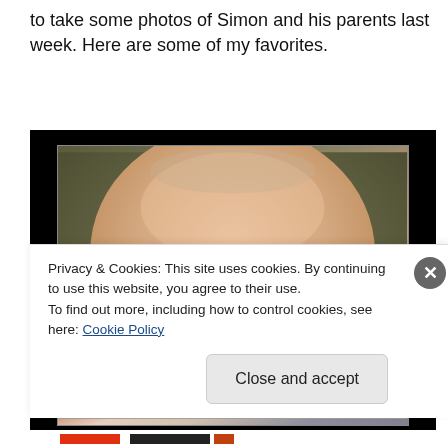to take some photos of Simon and his parents last week. Here are some of my favorites.
[Figure (photo): Close-up photo of a baby's face peeking up from below, with blue eyes, on a dark/black background border]
Privacy & Cookies: This site uses cookies. By continuing to use this website, you agree to their use.
To find out more, including how to control cookies, see here: Cookie Policy
Close and accept